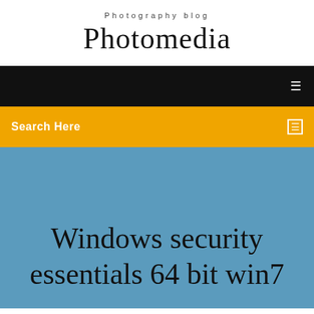Photography blog
Photomedia
[Figure (screenshot): Black navigation bar with white menu icon on right]
Search Here
Windows security essentials 64 bit win7